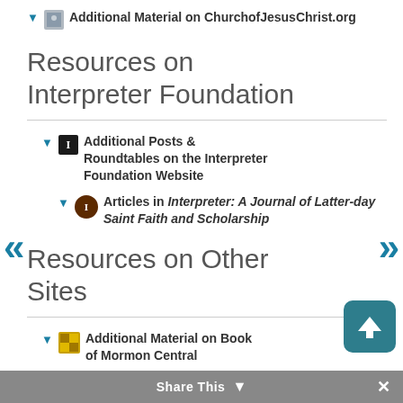Additional Material on ChurchofJesusChrist.org
Resources on Interpreter Foundation
Additional Posts & Roundtables on the Interpreter Foundation Website
Articles in Interpreter: A Journal of Latter-day Saint Faith and Scholarship
Resources on Other Sites
Additional Material on Book of Mormon Central